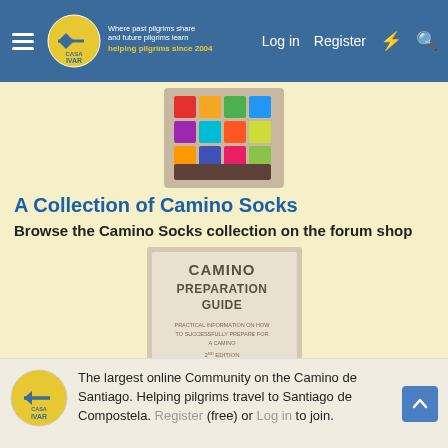Log in  Register
[Figure (photo): Colorful Camino-themed socks with a grid pattern of colors]
A Collection of Camino Socks
Browse the Camino Socks collection on the forum shop
[Figure (photo): Book cover: CAMINO PREPARATION GUIDE - Practical Information on How to Successfully Prepare for a Camino, 2nd Edition, by Mark H. O'Sullivan, with a golden scallop shell image]
The largest online Community on the Camino de Santiago. Helping pilgrims travel to Santiago de Compostela. Register (free) or Log in to join.